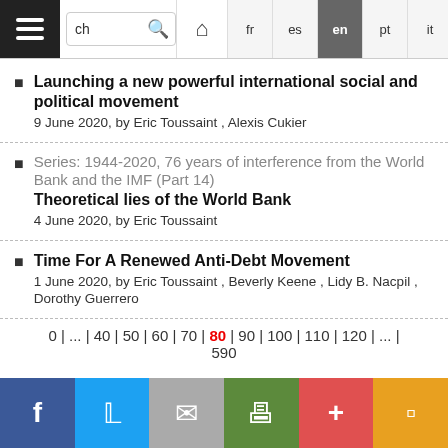Navigation bar with hamburger menu, search box, home icon, language buttons: fr, es, en (active), pt, it, de, Arabic
Launching a new powerful international social and political movement
9 June 2020, by Eric Toussaint , Alexis Cukier
Series: 1944-2020, 76 years of interference from the World Bank and the IMF (Part 14)
Theoretical lies of the World Bank
4 June 2020, by Eric Toussaint
Time For A Renewed Anti-Debt Movement
1 June 2020, by Eric Toussaint , Beverly Keene , Lidy B. Nacpil , Dorothy Guerrero
0 | ... | 40 | 50 | 60 | 70 | 80 | 90 | 100 | 110 | 120 | ... | 590
Social share bar: Facebook, Twitter, Email, Print, Plus, Pocket